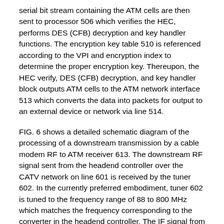serial bit stream containing the ATM cells are then sent to processor 506 which verifies the HEC, performs DES (CFB) decryption and key handler functions. The encryption key table 510 is referenced according to the VPI and encryption index to determine the proper encryption key. Thereupon, the HEC verify, DES (CFB) decryption, and key handler block outputs ATM cells to the ATM network interface 513 which converts the data into packets for output to an external device or network via line 514.
FIG. 6 shows a detailed schematic diagram of the processing of a downstream transmission by a cable modem RF to ATM receiver 613. The downstream RF signal sent from the headend controller over the CATV network on line 601 is received by the tuner 602. In the currently preferred embodiment, tuner 602 is tuned to the frequency range of 88 to 800 MHz which matches the frequency corresponding to the converter in the headend controller. The IF signal from the tuner 602 is demodulated by the 64QAM demodulator 604. The resulting serial bit stream containing the ATM cells are checked by the forward error correction processor 606. The ATM cells and encryption index from processor 606 is the verified and decrypted by block 608. This is accomplished by referencing the encryption key table 610 with the VPI and encryption index. Based thereon, the appropriate encryption key is supplied to block 608. The decrypted ATM cells can then be sent on to the personal computer on line 612.
FIG. 7 shows a detailed schematic diagram of the circuitry on ATM and/or...